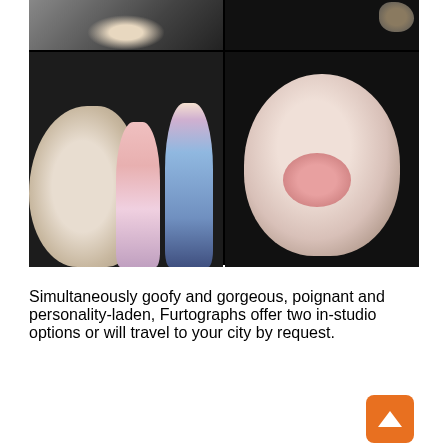[Figure (photo): A collage of four photos: top-left shows a dark textured background with a white object, top-right shows a lizard or reptile on a dark background, bottom-left shows two Asian children (a girl in a pink dress and a boy in a blue shirt) posing with a large pot-bellied pig on a dark studio background, bottom-right shows a close-up of a mini pig's face with pink snout looking directly at camera on a dark background.]
Simultaneously goofy and gorgeous, poignant and personality-laden, Furtographs offer two in-studio options or will travel to your city by request.
[Figure (photo): Bottom portion showing two side-by-side photos: left shows a white pig with large black ear against a purple background, right shows a dark green background. An orange up-arrow button is visible in the bottom-right corner.]